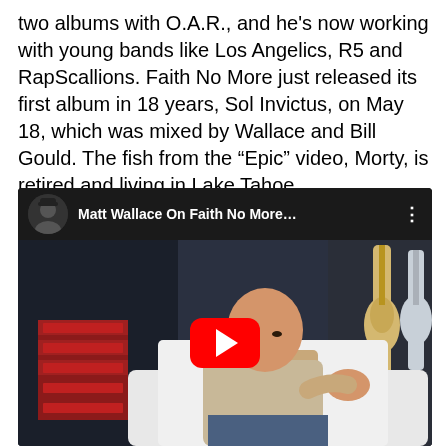two albums with O.A.R., and he's now working with young bands like Los Angelics, R5 and RapScallions. Faith No More just released its first album in 18 years, Sol Invictus, on May 18, which was mixed by Wallace and Bill Gould. The fish from the "Epic" video, Morty, is retired and living in Lake Tahoe.
[Figure (screenshot): YouTube video embed showing 'Matt Wallace On Faith No More...' with a thumbnail of a bald man sitting on a white couch in a music studio with guitars visible in the background. A red YouTube play button is centered on the thumbnail.]